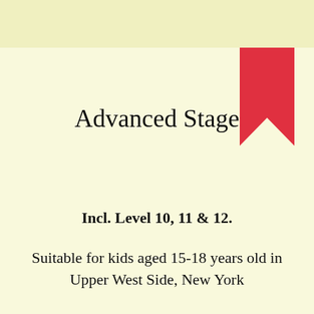Advanced Stage
Incl. Level 10, 11 & 12.
Suitable for kids aged 15-18 years old in Upper West Side, New York
Learn More
Hi! We use cookies to improve your experience. We'll assume you're ok with this, but you can opt-out if you wish. Cookie settings  ACCEPT